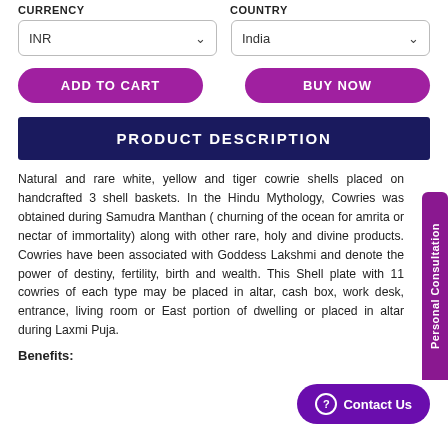CURRENCY
COUNTRY
INR
India
ADD TO CART
BUY NOW
PRODUCT DESCRIPTION
Natural and rare white, yellow and tiger cowrie shells placed on handcrafted 3 shell baskets. In the Hindu Mythology, Cowries was obtained during Samudra Manthan ( churning of the ocean for amrita or nectar of immortality) along with other rare, holy and divine products. Cowries have been associated with Goddess Lakshmi and denote the power of destiny, fertility, birth and wealth. This Shell plate with 11 cowries of each type may be placed in altar, cash box, work desk, entrance, living room or East portion of dwelling or placed in altar during Laxmi Puja.
Personal Consultation
Contact Us
Benefits: